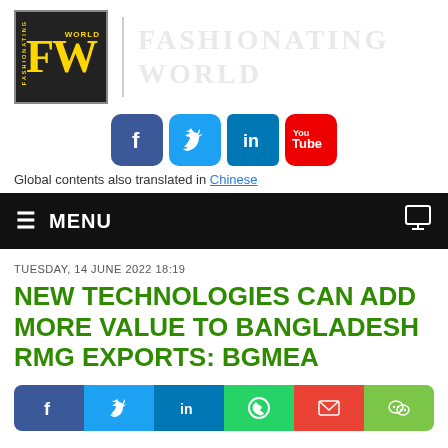[Figure (logo): Fashionating World logo with FW letters in gold on black background, with 'FASHIONATING' text vertical and 'WORLD' text, followed by a grey divider and a blurred/faded 'FASHIONATING WORLD' text header]
[Figure (infographic): Social media buttons: Facebook (blue), Twitter (light blue), LinkedIn (blue), YouTube (red with You Tube text)]
Global contents also translated in Chinese
≡  MENU
TUESDAY, 14 JUNE 2022 18:19
NEW TECHNOLOGIES CAN ADD MORE VALUE TO BANGLADESH RMG EXPORTS: BGMEA
[Figure (infographic): Social share buttons: Facebook, Twitter, LinkedIn, WhatsApp, Gmail, WeChat]